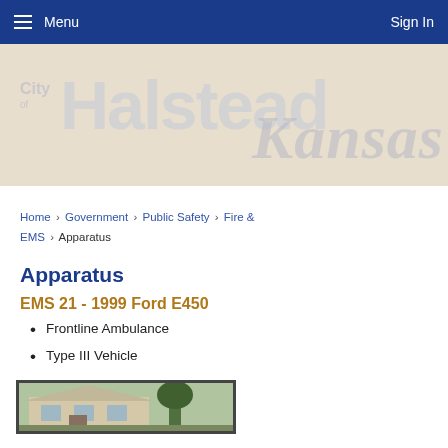Menu  Sign In
[Figure (logo): City of Halstead Kansas banner header with beige background]
Home › Government › Public Safety › Fire & EMS › Apparatus
Apparatus
EMS 21 - 1999 Ford E450
Frontline Ambulance
Type III Vehicle
[Figure (photo): Photo of a building, partially visible at bottom of page]